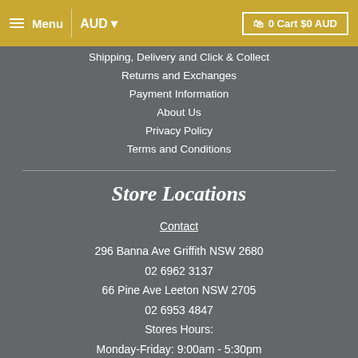Menu | AUD ▾ | 0 Cart $0 AUD
Shipping, Delivery and Click & Collect
Returns and Exchanges
Payment Information
About Us
Privacy Policy
Terms and Conditions
Store Locations
Contact
296 Banna Ave Griffith NSW 2680
02 6962 3137
66 Pine Ave Leeton NSW 2705
02 6953 4847
Stores Hours:
Monday-Friday: 9:00am - 5:30pm